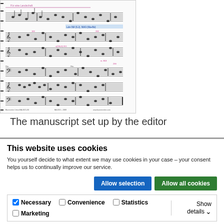[Figure (illustration): A scanned musical manuscript page with handwritten annotations in pink and blue ink, showing multiple staves with musical notation, dynamics, and editorial marks.]
The manuscript set up by the editor
This website uses cookies
You yourself decide to what extent we may use cookies in your case – your consent helps us to continually improve our service.
Allow selection
Allow all cookies
Necessary  Convenience  Statistics  Marketing  Show details